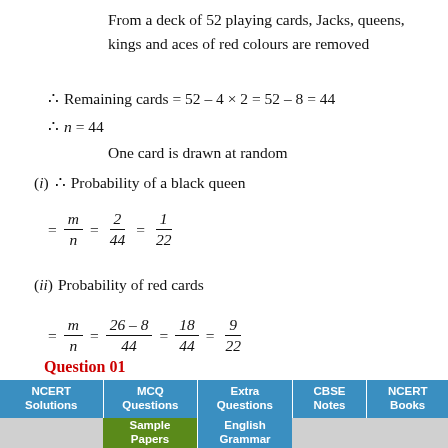From a deck of 52 playing cards, Jacks, queens, kings and aces of red colours are removed
One card is drawn at random
(i) ∴ Probability of a black queen
(ii) Probability of red cards
NCERT Solutions | MCQ Questions | Extra Questions | CBSE Notes | NCERT Books | Sample Papers | English Grammar